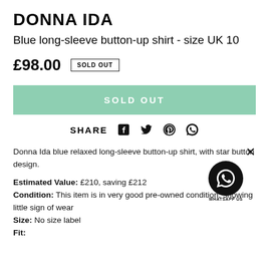DONNA IDA
Blue long-sleeve button-up shirt - size UK 10
£98.00  SOLD OUT
SOLD OUT
SHARE
Donna Ida blue relaxed long-sleeve button-up shirt, with star button design.
Estimated Value: £210, saving £212
Condition: This item is in very good pre-owned condition, showing little sign of wear
Size: No size label
Fit: